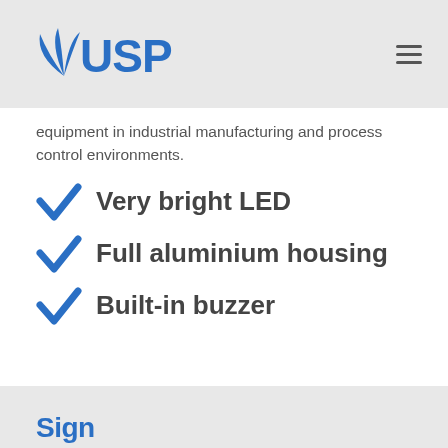USP
equipment in industrial manufacturing and process control environments.
Very bright LED
Full aluminium housing
Built-in buzzer